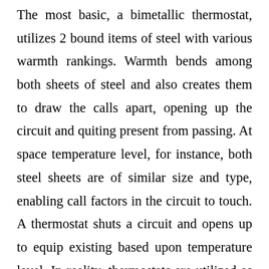The most basic, a bimetallic thermostat, utilizes 2 bound items of steel with various warmth rankings. Warmth bends among both sheets of steel and also creates them to draw the calls apart, opening up the circuit and quiting present from passing. At space temperature level, for instance, both steel sheets are of similar size and type, enabling call factors in the circuit to touch. A thermostat shuts a circuit and opens up to equip existing based upon temperature level. In reality, thermostats are utilized as overload guards that open up a circuit and transform off an electric motor if it overwhelms or overheats. Thermostats can be made used to transform a home heating component or an electric motor on or off. With the tester affixed, relocate the cord to make sure that there is contact along in the b...